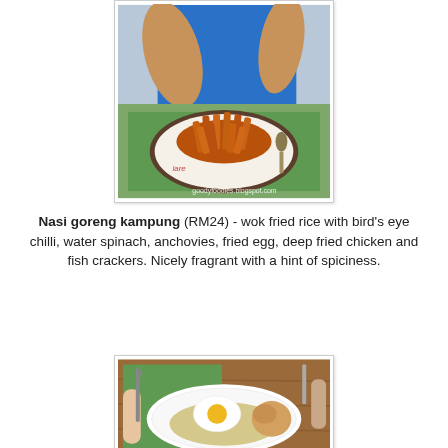[Figure (photo): Photo of a person in a blue shirt sitting at a table with a plate of sweet potato fries on a round plate with printed paper liner. A spoon and green napkin visible. Watermark: goodyfoodies.blogspot.com]
Nasi goreng kampung (RM24) - wok fried rice with bird's eye chilli, water spinach, anchovies, fried egg, deep fried chicken and fish crackers. Nicely fragrant with a hint of spiciness.
[Figure (photo): Photo of a plate of nasi goreng kampung with a fried egg on top, deep fried chicken, and hands holding a fork and knife, on a green placemat and wooden table.]